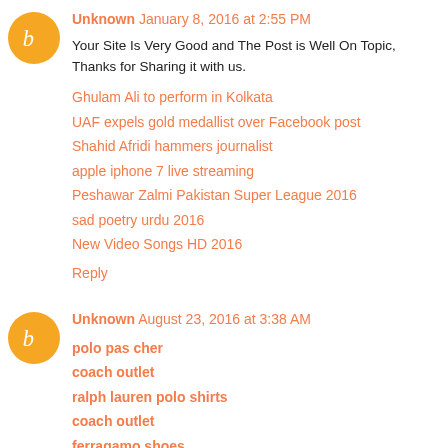Unknown January 8, 2016 at 2:55 PM
Your Site Is Very Good and The Post is Well On Topic, Thanks for Sharing it with us.
Ghulam Ali to perform in Kolkata
UAF expels gold medallist over Facebook post
Shahid Afridi hammers journalist
apple iphone 7 live streaming
Peshawar Zalmi Pakistan Super League 2016
sad poetry urdu 2016
New Video Songs HD 2016
Reply
Unknown August 23, 2016 at 3:38 AM
polo pas cher
coach outlet
ralph lauren polo shirts
coach outlet
ferragamo shoes
north face jacket